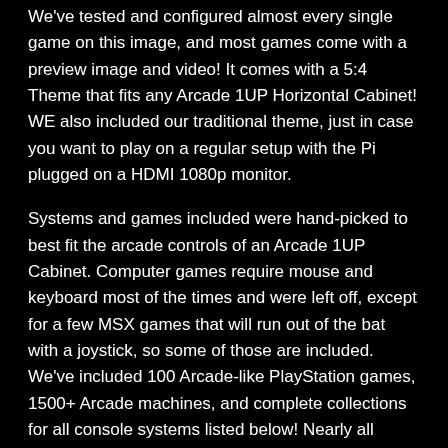We've tested and configured almost every single game on this image, and most games come with a preview image and video! It comes with a 5:4 Theme that fits any Arcade 1UP Horizontal Cabinet! WE also included our traditional theme, just in case you want to play on a regular setup with the Pi plugged on a HDMI 1080p monitor.
Systems and games included were hand-picked to best fit the arcade controls of an Arcade 1UP Cabinet. Computer games require mouse and keyboard most of the times and were left off, except for a few MSX games that will run out of the bat with a joystick, so some of those are included. We've included 100 Arcade-like PlayStation games, 1500+ Arcade machines, and complete collections for all console systems listed below! Nearly all games work fine on the Raspberry Pi 4 or 400. Compatibility with Pi 4 is really good. N64 games still don't emulate well even on a Pi 4, so those were not included. If you want these included, please let us know. We can replace the for something else. Atari 5200 games require the Keyboard to start a game and for some inputs during the games, so it was left out.